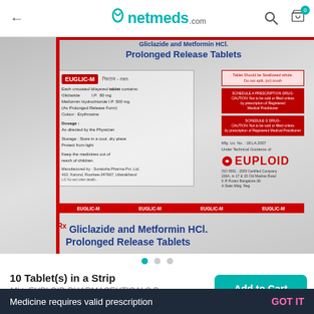netmeds.com
[Figure (photo): Blister strip packaging of Euglic-M (Gliclazide and Metformin HCl Prolonged Release Tablets), showing front and back of the strip with EUPLOID brand logo, dosage information, and warning labels.]
10 Tablet(s) in a Strip
Mkt: EUPLOID PHARMACEUTICALS P...
Country of Origin: India
Add to Cart
Medicine requires valid prescription  GOT IT